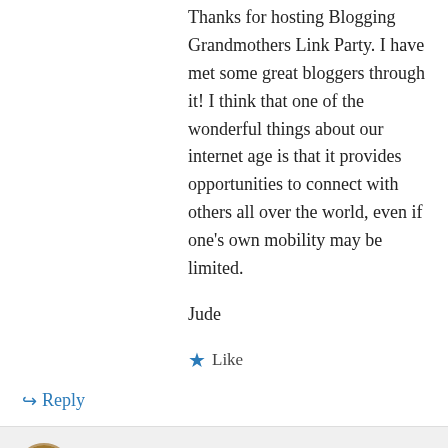Thanks for hosting Blogging Grandmothers Link Party. I have met some great bloggers through it! I think that one of the wonderful things about our internet age is that it provides opportunities to connect with others all over the world, even if one's own mobility may be limited.
Jude
★ Like
↪ Reply
Grammy Dee from Grammy's Grid on July 17, 2017 at 2:22 pm
Hi Jude. I appreciate you joining in with us at the link party that's just for grandmothers